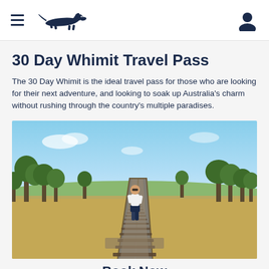Greyhound Australia navigation header with hamburger menu and user icon
30 Day Whimit Travel Pass
The 30 Day Whimit is the ideal travel pass for those who are looking for their next adventure, and looking to soak up Australia's charm without rushing through the country's multiple paradises.
[Figure (photo): A person walking along railway tracks through Australian rural landscape with trees and blue sky]
Book Now